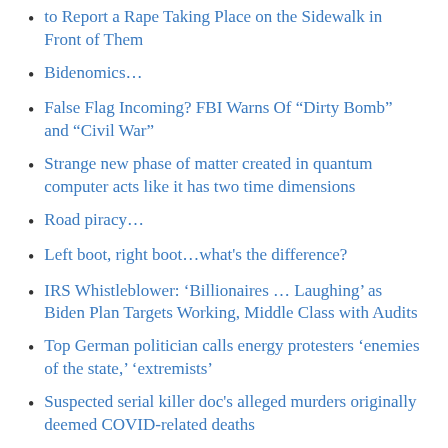to Report a Rape Taking Place on the Sidewalk in Front of Them
Bidenomics…
False Flag Incoming? FBI Warns Of “Dirty Bomb” and “Civil War”
Strange new phase of matter created in quantum computer acts like it has two time dimensions
Road piracy…
Left boot, right boot…what's the difference?
IRS Whistleblower: ‘Billionaires … Laughing’ as Biden Plan Targets Working, Middle Class with Audits
Top German politician calls energy protesters ‘enemies of the state,’ ‘extremists’
Suspected serial killer doc's alleged murders originally deemed COVID-related deaths